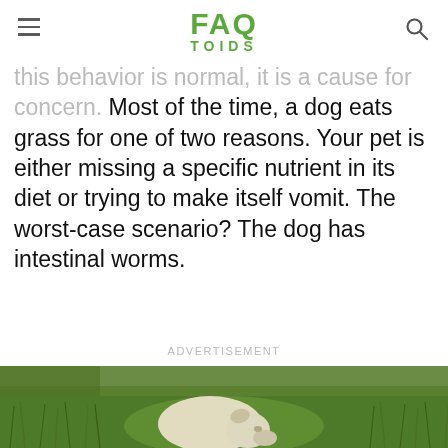FAQ TOIDS
this behavior is normal, it is a cause for concern. Most of the time, a dog eats grass for one of two reasons. Your pet is either missing a specific nutrient in its diet or trying to make itself vomit. The worst-case scenario? The dog has intestinal worms.
ADVERTISEMENT
[Figure (photo): A light-colored puppy or small white dog crouching down in tall green grass, appearing to sniff or eat the grass.]